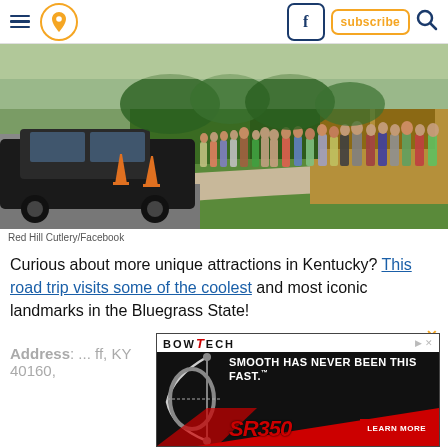Navigation bar with menu, location pin, Facebook, subscribe, and search icons
[Figure (photo): A crowd of people standing in line outside a building with a brick facade, a black SUV with orange traffic cones in the foreground, and a grassy lawn. Photo credit: Red Hill Cutlery/Facebook]
Red Hill Cutlery/Facebook
Curious about more unique attractions in Kentucky? This road trip visits some of the coolest and most iconic landmarks in the Bluegrass State!
Address: ... ff, KY 40160,
[Figure (other): Bowtech advertisement: SMOOTH HAS NEVER BEEN THIS FAST. SR350 LEARN MORE]